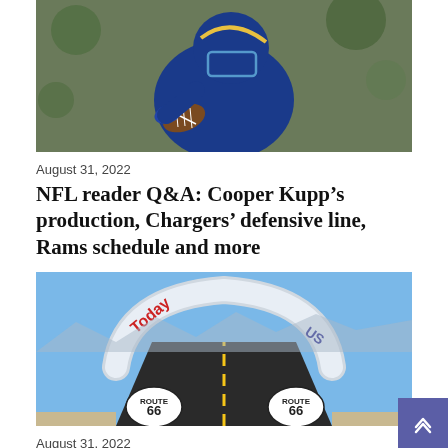[Figure (photo): NFL player in blue LA Rams uniform and helmet carrying a football during practice, blurred green background]
August 31, 2022
NFL reader Q&A: Cooper Kupp’s production, Chargers’ defensive line, Rams schedule and more
[Figure (photo): Large inflatable arch reading 'Today US' over a Route 66 road marking on a desert highway under blue sky]
August 31, 2022
Column: Harvard-Westlake water polo team is so deep it